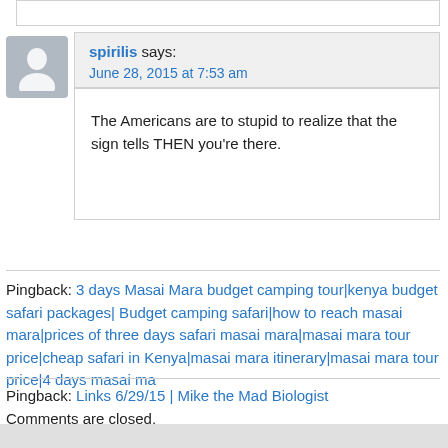spirilis says:
June 28, 2015 at 7:53 am
The Americans are to stupid to realize that the sign tells THEN you're there.
Pingback: 3 days Masai Mara budget camping tour|kenya budget safari packages| Budget camping safari|how to reach masai mara|prices of three days safari masai mara|masai mara tour price|cheap safari in Kenya|masai mara itinerary|masai mara tour price|4 days masai ma
Pingback: Links 6/29/15 | Mike the Mad Biologist
Comments are closed.